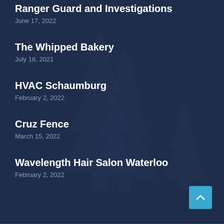Ranger Guard and Investigations
June 17, 2022
The Whipped Bakery
July 18, 2021
HVAC Schaumburg
February 2, 2022
Cruz Fence
March 15, 2022
Wavelength Hair Salon Waterloo
February 2, 2022